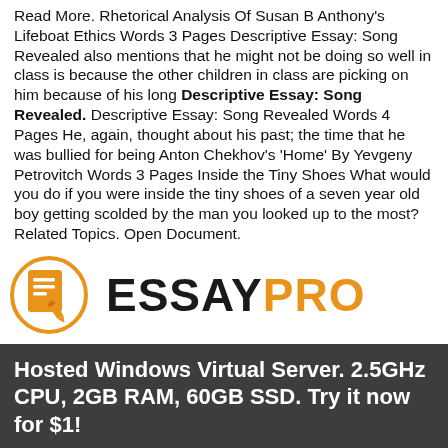Read More. Rhetorical Analysis Of Susan B Anthony's Lifeboat Ethics Words 3 Pages Descriptive Essay: Song Revealed also mentions that he might not be doing so well in class is because the other children in class are picking on him because of his long Descriptive Essay: Song Revealed. Descriptive Essay: Song Revealed Words 4 Pages He, again, thought about his past; the time that he was bullied for being Anton Chekhov's 'Home' By Yevgeny Petrovitch Words 3 Pages Inside the Tiny Shoes What would you do if you were inside the tiny shoes of a seven year old boy getting scolded by the man you looked up to the most? Related Topics. Open Document.
[Figure (logo): EssayPro logo with orange circle icon containing document lines and a pencil, followed by ESSAYPRO text in black and orange]
Follow us on facebook  Terms & Conditions  Privacy Policy  SiteMap  Refund Policy
© 2020-2021 imv-co-jp.somee.com™. All rights reserved.
Web hosting by Somee.com
Hosted Windows Virtual Server. 2.5GHz CPU, 2GB RAM, 60GB SSD. Try it now for $1!